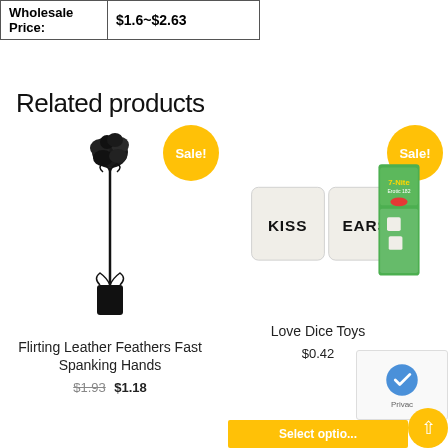| Wholesale Price: | $1.6~$2.63 |
| --- | --- |
Related products
[Figure (photo): Feather tickler / spanking toy product image with black feather top and leather handle with bow]
Flirting Leather Feathers Fast Spanking Hands
$1.93  $1.18
[Figure (photo): Love Dice Toys product image showing white dice with KISS and EARS text, plus packaged dice set]
Love Dice Toys
$0.42